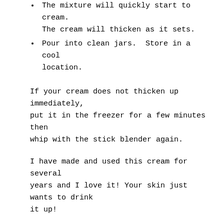The mixture will quickly start to cream. The cream will thicken as it sets.
Pour into clean jars.  Store in a cool location.
If your cream does not thicken up immediately, put it in the freezer for a few minutes then whip with the stick blender again.
I have made and used this cream for several years and I love it! Your skin just wants to drink it up!
If you make it, let me know how it turns out.
Thanks for stopping by!